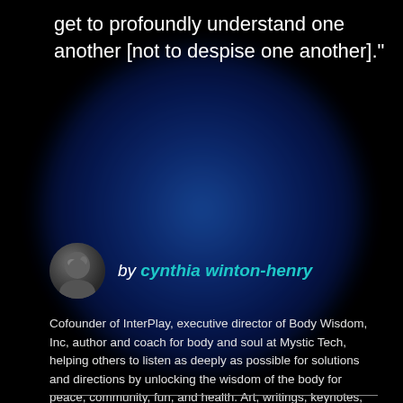get to profoundly understand one another [not to despise one another]."
[Figure (illustration): Dark background with a large glowing blue orb/sphere in the center-lower portion of the image]
by cynthia winton-henry
Cofounder of InterPlay, executive director of Body Wisdom, Inc, author and coach for body and soul at Mystic Tech, helping others to listen as deeply as possible for solutions and directions by unlocking the wisdom of the body for peace, community, fun, and health. Art, writings, keynotes, online teaching, and retreat and conference leadership.